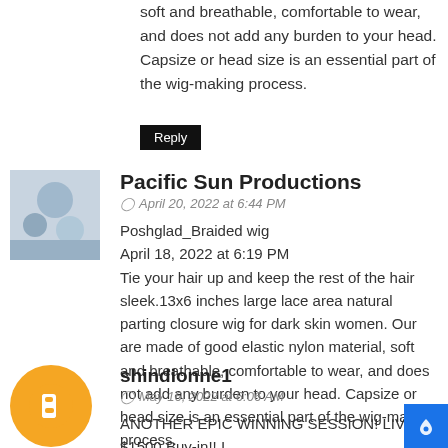soft and breathable, comfortable to wear, and does not add any burden to your head. Capsize or head size is an essential part of the wig-making process.
Reply
Pacific Sun Productions
April 20, 2022 at 6:44 PM
Poshglad_Braided wig
April 18, 2022 at 6:19 PM
Tie your hair up and keep the rest of the hair sleek.13x6 inches large lace area natural parting closure wig for dark skin women. Our are made of good elastic nylon material, soft and breathable, comfortable to wear, and does not add any burden to your head. Capsize or head size is an essential part of the wig-making process.
https://poshglad.com
Reply
shindionne1
May 16, 2022 at 6:06 AM
ANOTHER EPIC WINNING SESSION! LIVE: ! $1500 Buy-in!! I